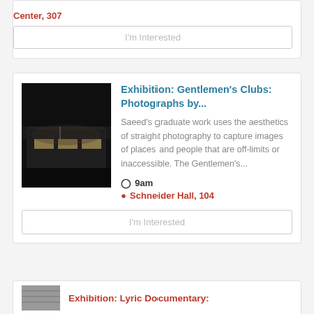Center, 307
I'm Interested
Exhibition: Gentlemen's Clubs: Photographs by...
Saeed's graduate work uses the aesthetics of straight photography to capture images of places and people that are off-limits or inaccessible. The Gentlemen's...
9am
Schneider Hall, 104
I'm Interested
Exhibition: Lyric Documentary: